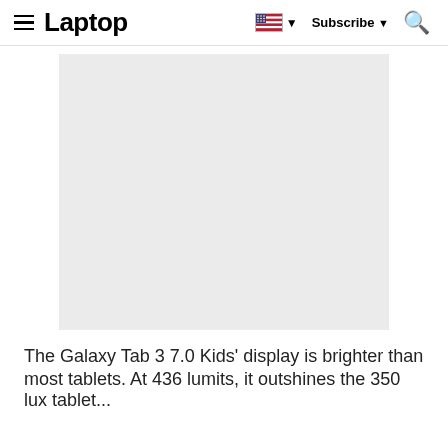≡ Laptop  Subscribe ▼ 🔍
[Figure (photo): Placeholder grey rectangle representing a product image of the Galaxy Tab 3 7.0 Kids tablet]
The Galaxy Tab 3 7.0 Kids' display is brighter than most tablets. At 436 lumits, it outshines the 350 lux tablet...